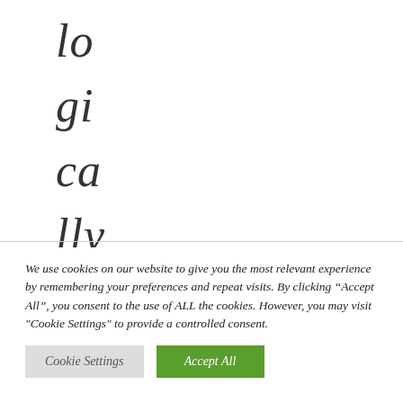lo
gi
ca
lly
fr
o
m
ba
We use cookies on our website to give you the most relevant experience by remembering your preferences and repeat visits. By clicking “Accept All”, you consent to the use of ALL the cookies. However, you may visit "Cookie Settings" to provide a controlled consent.
Cookie Settings
Accept All